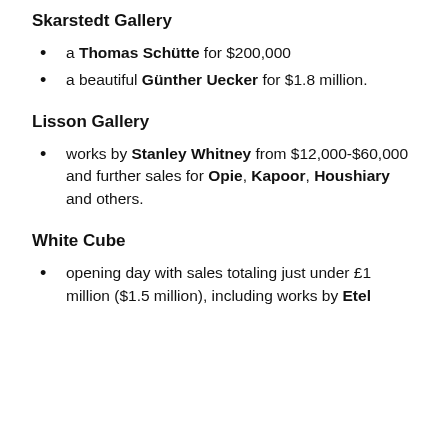Skarstedt Gallery
a Thomas Schütte for $200,000
a beautiful Günther Uecker for $1.8 million.
Lisson Gallery
works by Stanley Whitney from $12,000-$60,000 and further sales for Opie, Kapoor, Houshiary and others.
White Cube
opening day with sales totaling just under £1 million ($1.5 million), including works by Etel